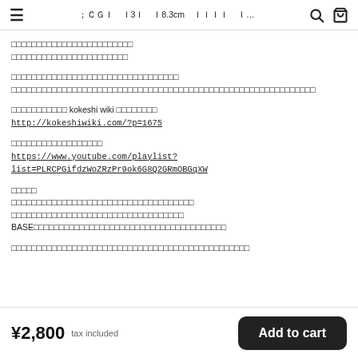≡  ［こけし］□□□□□□□□□ □3□ □8.3cm □□□□ □...  🔍  🛒
□□□□□□□□□□□□□□□□□□□□□□□□
□□□□□□□□□□□□□□□□□□□□□□□
□□□□□□□□□□□□□□□□□□□□□□□□□□□□□□□□□
□□□□□□□□□□□□□□□□□□□□□□□□□□□□□□□□□□□□□□□□□□□□□□□□□□□□□□□□□□□□
□□□□□□□□□□□ kokeshi wiki □□□□□□□□
http://kokeshiwiki.com/?p=1675
□□□□□□□□□□□□□□□□□□
https://www.youtube.com/playlist?list=PLRCPGifdzWoZRzPr9ok6G8Q2GRmOBGqXW
□□□□□
□□□□□□□□□□□□□□□□□□□□□□□□□□□□□□□□□□□□
□□□□□□□□□□□□□□□□□□□□□□□□□□□□□□□□
BASE□□□□□□□□□□□□□□□□□□□□□□□□□□□□□□□□□□□□□□
□□□□□□□□□□□□□□□□□□□□□□□□□□□□□□□□□□□□□□□□□□□□□□
¥2,800  tax included  Add to cart